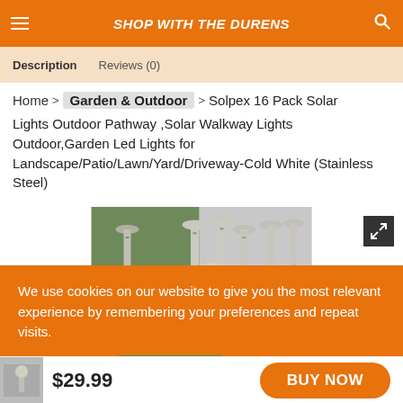SHOP WITH THE DURENS
Description   Reviews (0)
Home > Garden & Outdoor > Solpex 16 Pack Solar Lights Outdoor Pathway ,Solar Walkway Lights Outdoor,Garden Led Lights for Landscape/Patio/Lawn/Yard/Driveway-Cold White (Stainless Steel)
[Figure (photo): Product photo showing 16 stainless steel solar pathway lights arranged in a group, with a garden pathway background on the left side.]
We use cookies on our website to give you the most relevant experience by remembering your preferences and repeat visits.
Cookie settings   ACCEPT
$29.99   BUY NOW